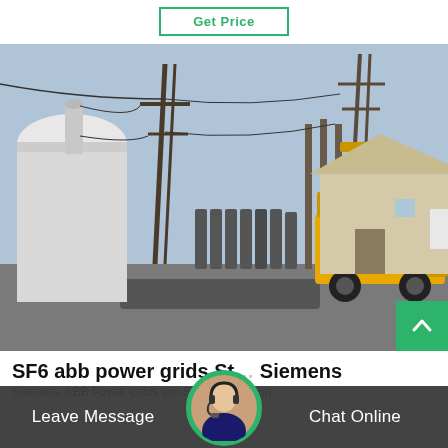Get Price
[Figure (photo): Electrical substation with SF6 gas cylinders, transmission towers, and a yellow service truck parked beside an industrial building]
SF6 abb power grids St... Siemens
Siemens, ABB Power Grids win Shetland link, on...
Leave Message
Chat Online